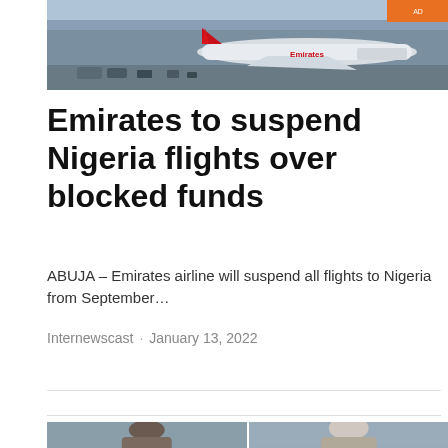[Figure (photo): Emirates airplane at an airport gate with ground crew and equipment visible]
Emirates to suspend Nigeria flights over blocked funds
ABUJA – Emirates airline will suspend all flights to Nigeria from September…
Internewscast · January 13, 2022
[Figure (photo): Two portrait photos of people side by side at the bottom of the page]